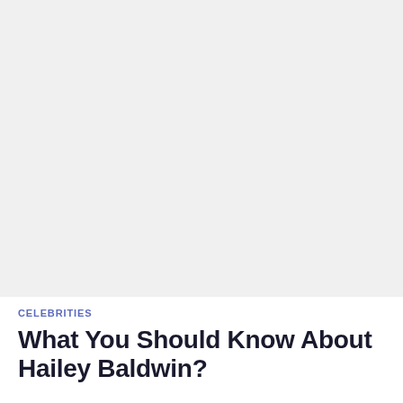[Figure (photo): Large image placeholder with light gray background, likely a photo of Hailey Baldwin]
CELEBRITIES
What You Should Know About Hailey Baldwin?